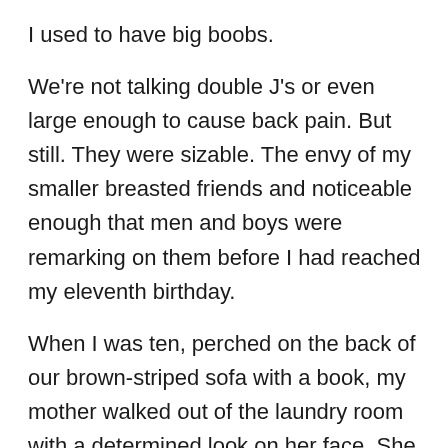I used to have big boobs.
We're not talking double J's or even large enough to cause back pain.  But still.  They were sizable.  The envy of my smaller breasted friends and noticeable enough that men and boys were remarking on them before I had reached my eleventh birthday.
When I was ten, perched on the back of our brown-striped sofa with a book, my mother walked out of the laundry room with a determined look on her face.  She hesitated briefly before gently but resolutely informing me